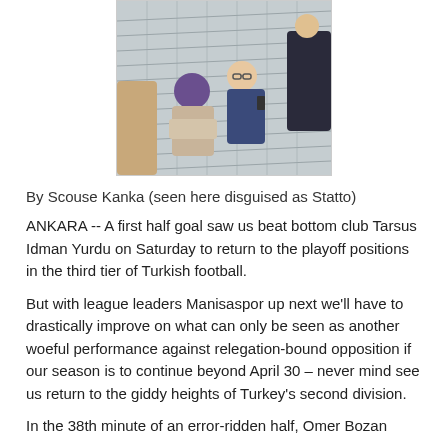[Figure (photo): People sitting in stadium seats; a man with glasses holds a phone/radio, a woman in a purple hat and beige scarf sits nearby, among rows of grey empty seats.]
By Scouse Kanka (seen here disguised as Statto)
ANKARA -- A first half goal saw us beat bottom club Tarsus Idman Yurdu on Saturday to return to the playoff positions in the third tier of Turkish football.
But with league leaders Manisaspor up next we'll have to drastically improve on what can only be seen as another woeful performance against relegation-bound opposition if our season is to continue beyond April 30 – never mind see us return to the giddy heights of Turkey's second division.
In the 38th minute of an error-ridden half, Omer Bozan